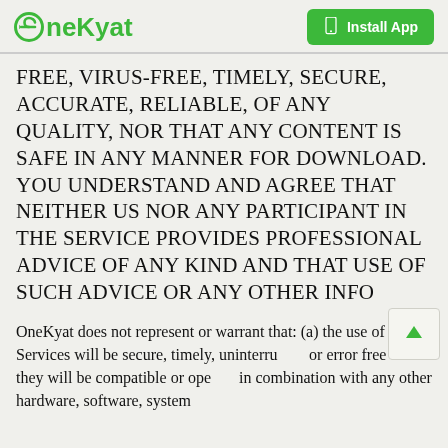OneKyat | Install App
FREE, VIRUS-FREE, TIMELY, SECURE, ACCURATE, RELIABLE, OF ANY QUALITY, NOR THAT ANY CONTENT IS SAFE IN ANY MANNER FOR DOWNLOAD. YOU UNDERSTAND AND AGREE THAT NEITHER US NOR ANY PARTICIPANT IN THE SERVICE PROVIDES PROFESSIONAL ADVICE OF ANY KIND AND THAT USE OF SUCH ADVICE OR ANY OTHER INFO
OneKyat does not represent or warrant that: (a) the use of the Services will be secure, timely, uninterrupted or error free or that they will be compatible or operate in combination with any other hardware, software, system